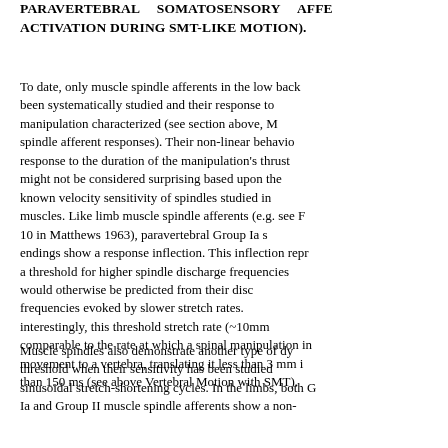PARAVERTEBRAL SOMATOSENSORY AFFERENT ACTIVATION DURING SMT-LIKE MOTION).
To date, only muscle spindle afferents in the low back have been systematically studied and their response to manipulation characterized (see section above, Muscle spindle afferent responses). Their non-linear behavior in response to the duration of the manipulation's thrust phase might not be considered surprising based upon the well-known velocity sensitivity of spindles studied in limb muscles. Like limb muscle spindle afferents (e.g. see Figure 10 in Matthews 1963), paravertebral Group Ia spindle endings show a response inflection. This inflection represents a threshold for higher spindle discharge frequencies than would otherwise be predicted from their discharge frequencies evoked by slower stretch rates. Most interestingly, this threshold stretch rate (~10mm/s) is comparable to the rate at which a spinal manipulation imparts movement to a vertebra, translating it less than 3 mm in less than 150 ms (see above Vertebral Motion with SMT).
Muscle spindles also demonstrate another type of dynamic threshold when their sensitivity has been studied using sinusoidal stretch-shortening cycles. In the limbs, both Group Ia and Group II muscle spindle afferents show a non-